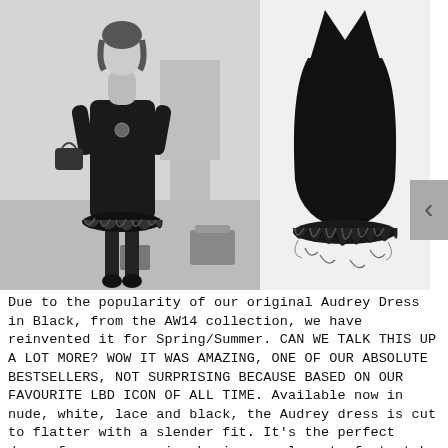[Figure (photo): Black and white photo of a woman wearing a black feather-hem dress with a handbag]
[Figure (photo): Product photo of a black sleeveless dress with feather trim at the hem on white background]
Due to the popularity of our original Audrey Dress in Black, from the AW14 collection, we have reinvented it for Spring/Summer. CAN WE TALK THIS UP A LOT MORE? WOW IT WAS AMAZING, ONE OF OUR ABSOLUTE BESTSELLERS, NOT SURPRISING BECAUSE BASED ON OUR FAVOURITE LBD ICON OF ALL TIME. Available now in nude, white, lace and black, the Audrey dress is cut to flatter with a slender fit. It's the perfect dress for any occasion having an element of stretch in the figure skimming, luxurious fabric allowing for